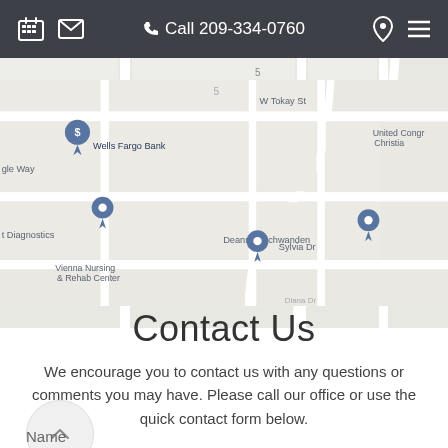Call 209-334-0760
[Figure (map): Google Maps showing location near Wells Fargo Bank, Vienna Nursing & Rehab Center, Deanna Aschwanden, with street labels including W Tokay St, Sylvia Dr, gle Way, ent Ave, and United Congr Christia]
Contact Us
We encourage you to contact us with any questions or comments you may have. Please call our office or use the quick contact form below.
Name